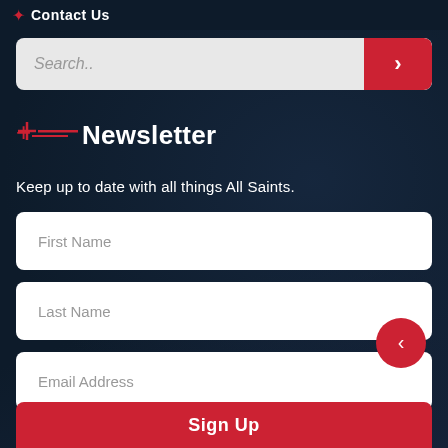Contact Us
Search..
Newsletter
Keep up to date with all things All Saints.
First Name
Last Name
Email Address
Sign Up